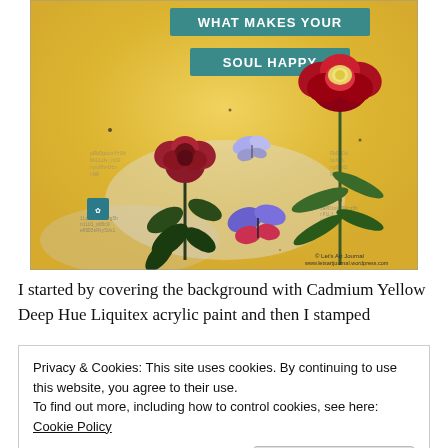[Figure (illustration): Art journal page with yellow background, red flowers, butterflies, stamped text patterns, teal banner labels reading 'WHAT MAKES YOUR SOUL HAPPY', copyright Let's Art Journal www.letsartjournal.wordpress.com]
I started by covering the background with Cadmium Yellow Deep Hue Liquitex acrylic paint and then I stamped
Privacy & Cookies: This site uses cookies. By continuing to use this website, you agree to their use.
To find out more, including how to control cookies, see here: Cookie Policy
Close and accept
black Archival Ink. Then I applied some Pébéo white gesso